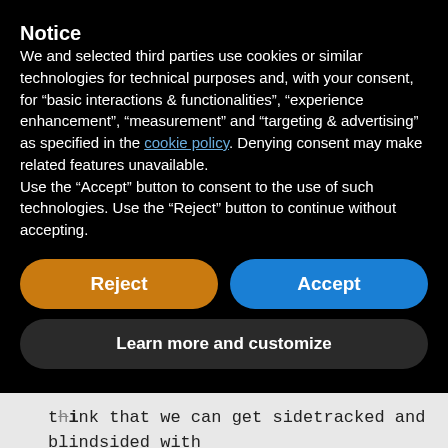Notice
We and selected third parties use cookies or similar technologies for technical purposes and, with your consent, for “basic interactions & functionalities”, “experience enhancement”, “measurement” and “targeting & advertising” as specified in the cookie policy. Denying consent may make related features unavailable.
Use the “Accept” button to consent to the use of such technologies. Use the “Reject” button to continue without accepting.
[Figure (screenshot): Two buttons side by side: orange 'Reject' button and blue 'Accept' button]
[Figure (screenshot): Dark rounded button labeled 'Learn more and customize']
think that we can get sidetracked and blindsided with the es and with doctrines and with ideas of men .. I cannot get passed the fact that according to the Word the Holy Spirit of God is our covering, no natural